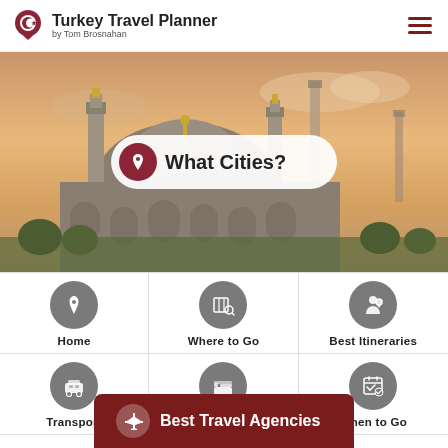Turkey Travel Planner by Tom Brosnahan
[Figure (photo): Aerial/ground view of a large Ottoman mosque (likely Blue Mosque) with multiple minarets against a warm sunset sky, Istanbul Turkey. Overlaid with a search bar reading 'What Cities?']
What Cities?
[Figure (infographic): Navigation grid with 6 icon buttons: Home, Where to Go, Best Itineraries, Transport, Where To Stay, When to Go]
Home
Where to Go
Best Itineraries
Transport
Where To Stay
When to Go
Best Travel Agencies